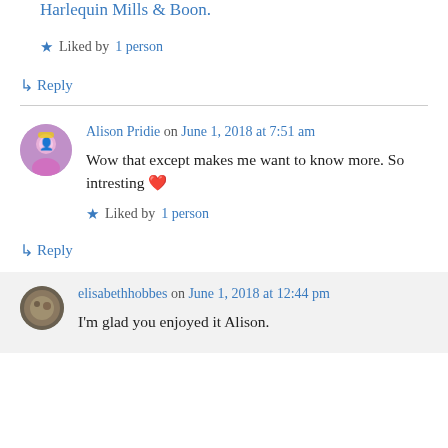Harlequin Mills & Boon.
Liked by 1 person
↳ Reply
Alison Pridie on June 1, 2018 at 7:51 am
Wow that except makes me want to know more. So intresting ❤
Liked by 1 person
↳ Reply
elisabethhobbes on June 1, 2018 at 12:44 pm
I'm glad you enjoyed it Alison.